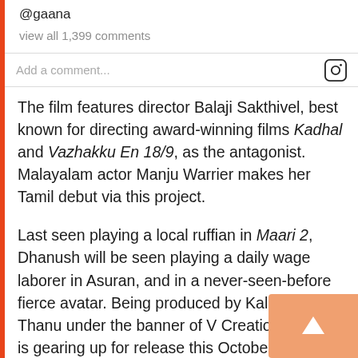@gaana
view all 1,399 comments
Add a comment...
The film features director Balaji Sakthivel, best known for directing award-winning films Kadhal and Vazhakku En 18/9, as the antagonist. Malayalam actor Manju Warrier makes her Tamil debut via this project.
Last seen playing a local ruffian in Maari 2, Dhanush will be seen playing a daily wage laborer in Asuran, and in a never-seen-before fierce avatar. Being produced by Kalaipuli S Thanu under the banner of V Creations, the film is gearing up for release this October.